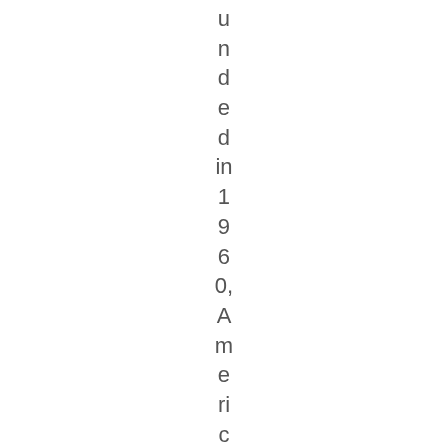unded in 1960, Americans for the Arts